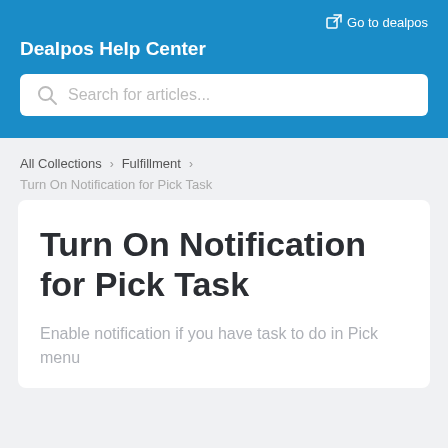Go to dealpos
Dealpos Help Center
[Figure (screenshot): Search bar with placeholder text 'Search for articles...']
All Collections > Fulfillment >
Turn On Notification for Pick Task
Turn On Notification for Pick Task
Enable notification if you have task to do in Pick menu